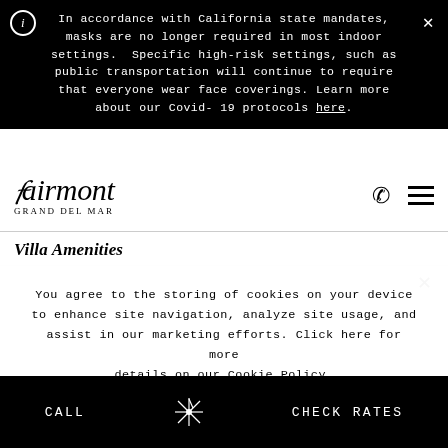In accordance with California state mandates, masks are no longer required in most indoor settings. Specific high-risk settings, such as public transportation will continue to require that everyone wear face coverings. Learn more about our Covid-19 protocols here.
[Figure (logo): Fairmont Grand Del Mar script logo with phone and hamburger menu icons]
Villa Amenities
You agree to the storing of cookies on your device to enhance site navigation, analyze site usage, and assist in our marketing efforts. Click here for more details on our Cookie Policy.
I AGREE
CALL | CHECK RATES